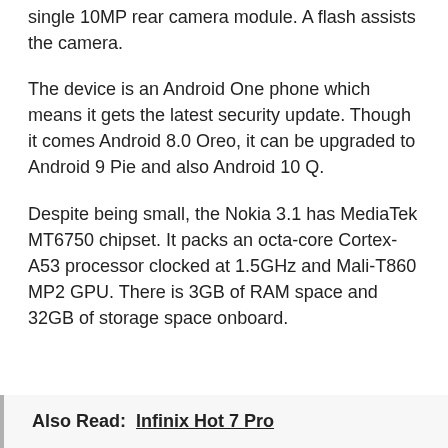single 10MP rear camera module. A flash assists the camera.
The device is an Android One phone which means it gets the latest security update. Though it comes Android 8.0 Oreo, it can be upgraded to Android 9 Pie and also Android 10 Q.
Despite being small, the Nokia 3.1 has MediaTek MT6750 chipset. It packs an octa-core Cortex-A53 processor clocked at 1.5GHz and Mali-T860 MP2 GPU. There is 3GB of RAM space and 32GB of storage space onboard.
Also Read:  Infinix Hot 7 Pro